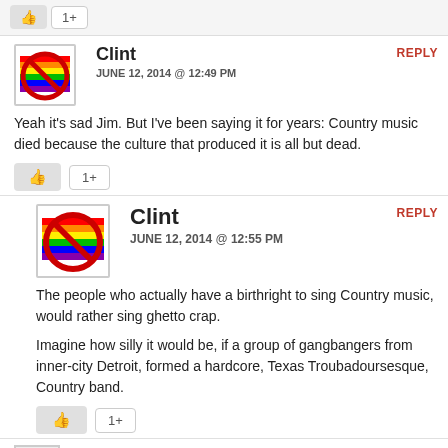[Like button] [1+]
Clint
JUNE 12, 2014 @ 12:49 PM
REPLY
Yeah it's sad Jim. But I've been saying it for years: Country music died because the culture that produced it is all but dead.
[Like button] [1+]
Clint
JUNE 12, 2014 @ 12:55 PM
REPLY
The people who actually have a birthright to sing Country music, would rather sing ghetto crap.

Imagine how silly it would be, if a group of gangbangers from inner-city Detroit, formed a hardcore, Texas Troubadoursesque, Country band.
[Like button] [1+]
Trigger
REPLY